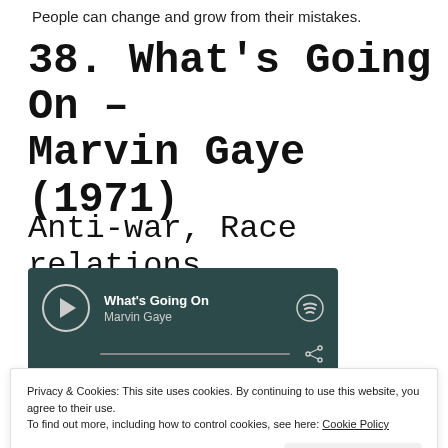People can change and grow from their mistakes.
38. What's Going On – Marvin Gaye (1971)
Anti-war, Race relations
[Figure (screenshot): Spotify embedded music player widget showing 'What's Going On' by Marvin Gaye with play button, progress bar, share icon, and Spotify logo on a dark teal background.]
Privacy & Cookies: This site uses cookies. By continuing to use this website, you agree to their use.
To find out more, including how to control cookies, see here: Cookie Policy
Close and accept